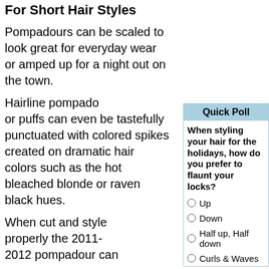For Short Hair Styles
Pompadours can be scaled to look great for everyday wear or amped up for a night out on the town.
Hairline pompadours or puffs can even be tastefully punctuated with colored spikes created on dramatic hair colors such as the hot bleached blonde or raven black hues.
When cut and style properly the 2011-2012 pompadour can
Quick Poll
When styling your hair for the holidays, how do you prefer to flaunt your locks?
Up
Down
Half up, Half down
Curls & Waves